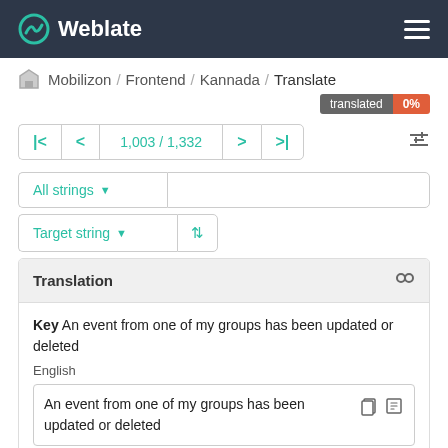Weblate
Mobilizon / Frontend / Kannada / Translate
translated 0%
1,003 / 1,332
All strings
Target string
Translation
Key An event from one of my groups has been updated or deleted
English
An event from one of my groups has been updated or deleted